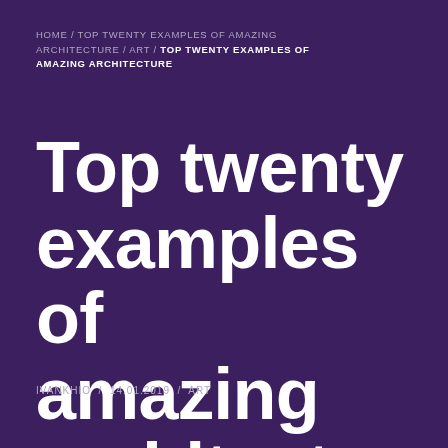HOME / TOP TWENTY EXAMPLES OF AMAZING ARCHITECTURE / ART / TOP TWENTY EXAMPLES OF AMAZING ARCHITECTURE
Top twenty examples of amazing architecture
IVANKHIO / 14.01.2019 / ART